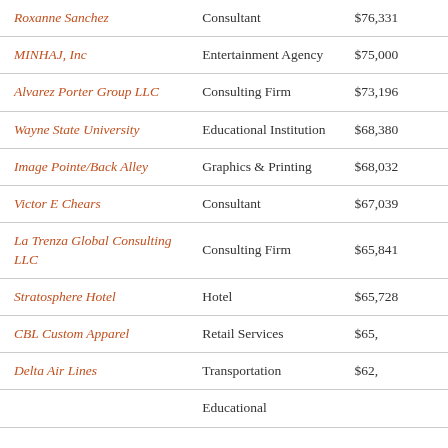| Roxanne Sanchez | Consultant | $76,331 |
| MINHAJ, Inc | Entertainment Agency | $75,000 |
| Alvarez Porter Group LLC | Consulting Firm | $73,196 |
| Wayne State University | Educational Institution | $68,380 |
| Image Pointe/Back Alley | Graphics & Printing | $68,032 |
| Victor E Chears | Consultant | $67,039 |
| La Trenza Global Consulting LLC | Consulting Firm | $65,841 |
| Stratosphere Hotel | Hotel | $65,728 |
| CBL Custom Apparel | Retail Services | $65,??? |
| Delta Air Lines | Transportation | $62,??? |
|  | Educational... |  |